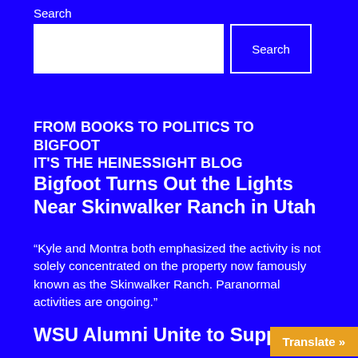Search
[Figure (screenshot): Search bar UI with white text input box and a Search button with white border on blue background]
FROM BOOKS TO POLITICS TO BIGFOOT IT'S THE HEINESSIGHT BLOG
Bigfoot Turns Out the Lights Near Skinwalker Ranch in Utah
“Kyle and Montra both emphasized the activity is not solely concentrated on the property now famously known as the Skinwalker Ranch. Paranormal activities are ongoing.”
WSU Alumni Unite to Supp